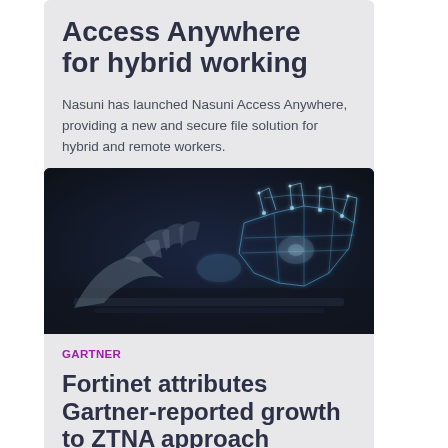Access Anywhere for hybrid working
Nasuni has launched Nasuni Access Anywhere, providing a new and secure file solution for hybrid and remote workers.
[Figure (photo): Two wireframe/digital hands shaking hands over a laptop, representing digital partnership or blockchain connectivity, on a dark background.]
GARTNER
Fortinet attributes Gartner-reported growth to ZTNA approach